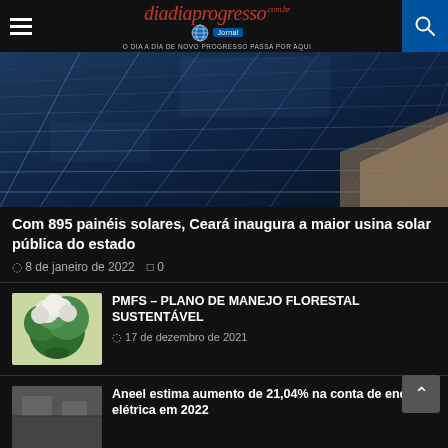diadiaprogresso — O DIA A DIA DE NOVO PROGRESSO PASSA POR AQUI
[Figure (photo): Aerial view of blue solar panels arranged in a grid pattern, photographed from a low angle showing perspective lines converging to a vanishing point.]
Com 895 painéis solares, Ceará inaugura a maior usina solar pública do estado
8 de janeiro de 2022   0
[Figure (photo): Small thumbnail showing a green tree or bush viewed from above against a light background.]
PMFS – PLANO DE MANEJO FLORESTAL SUSTENTÁVEL
17 de dezembro de 2021
[Figure (photo): Small thumbnail image, partially visible, appears to show an outdoor or environmental scene.]
Aneel estima aumento de 21,04% na conta de energia elétrica em 2022